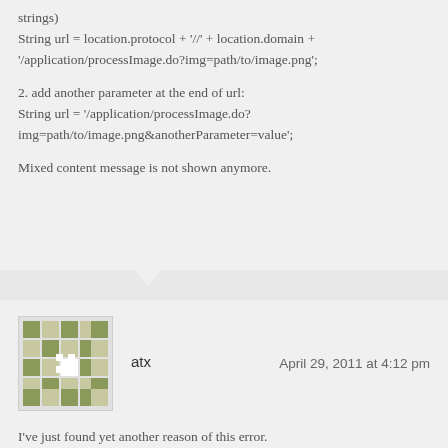strings)
String url = location.protocol + '//' + location.domain + '/application/processImage.do?img=path/to/image.png';

2. add another parameter at the end of url:
String url = '/application/processImage.do?img=path/to/image.png&anotherParameter=value';

Mixed content message is not shown anymore.
[Figure (other): Avatar image for user atx — a pixelated mosaic/identicon pattern in olive/green tones]
atx
April 29, 2011 at 4:12 pm
I've just found yet another reason of this error.

On the page loaded via HTTPS I had an swf. It has been embedded using Macromedia's library called JavaScript Integration Kit – and specifically by means of FlashTag